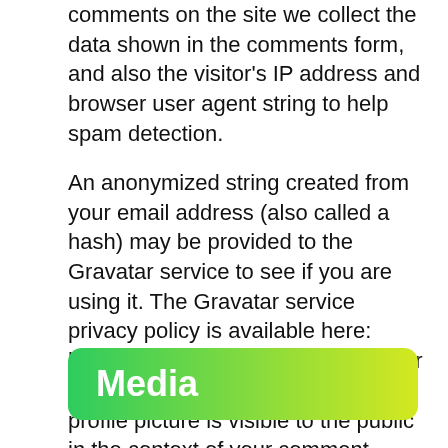comments on the site we collect the data shown in the comments form, and also the visitor's IP address and browser user agent string to help spam detection.
An anonymized string created from your email address (also called a hash) may be provided to the Gravatar service to see if you are using it. The Gravatar service privacy policy is available here: https://automattic.com/privacy/. After approval of your comment, your profile picture is visible to the public in the context of your comment.
Media